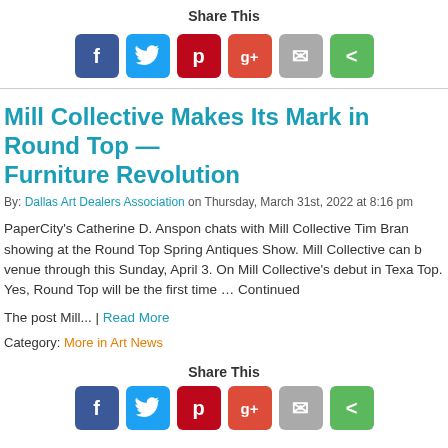Share This
[Figure (infographic): Social share buttons: Facebook (blue), Twitter (light blue), Pinterest (red), Google+ (red-orange), Email (grey), Share (green)]
Mill Collective Makes Its Mark in Round Top — Furniture Revolution
By: Dallas Art Dealers Association on Thursday, March 31st, 2022 at 8:16 pm
PaperCity's Catherine D. Anspon chats with Mill Collective Tim Bran showing at the Round Top Spring Antiques Show. Mill Collective can b venue through this Sunday, April 3. On Mill Collective's debut in Texa Top. Yes, Round Top will be the first time … Continued
The post Mill... | Read More
Category: More in Art News
Share This
[Figure (infographic): Social share buttons bottom: Facebook (blue), Twitter (light blue), Pinterest (red), Google+ (red-orange), Email (grey), Share (green)]